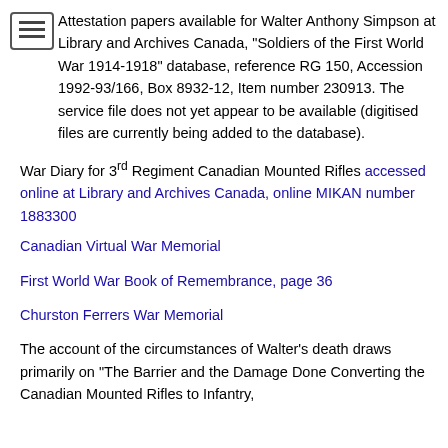Attestation papers available for Walter Anthony Simpson at Library and Archives Canada, "Soldiers of the First World War 1914-1918" database, reference RG 150, Accession 1992-93/166, Box 8932-12, Item number 230913. The service file does not yet appear to be available (digitised files are currently being added to the database).
War Diary for 3rd Regiment Canadian Mounted Rifles accessed online at Library and Archives Canada, online MIKAN number 1883300
Canadian Virtual War Memorial
First World War Book of Remembrance, page 36
Churston Ferrers War Memorial
The account of the circumstances of Walter's death draws primarily on "The Barrier and the Damage Done Converting the Canadian Mounted Rifles to Infantry,